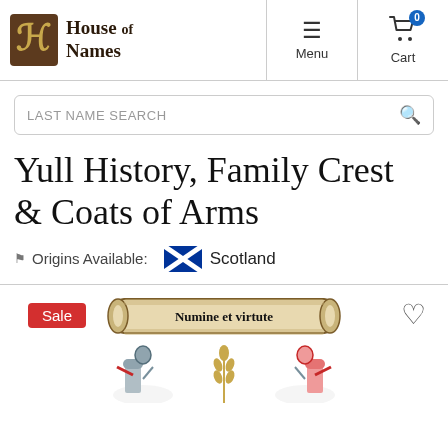House of Names — Menu | Cart (0)
LAST NAME SEARCH
Yull History, Family Crest & Coats of Arms
Origins Available: Scotland
[Figure (illustration): Sale badge, Yull family crest illustration scroll reading 'Numine et virtute', heart/wishlist icon, and partially visible heraldic figures at bottom]
Numine et virtute